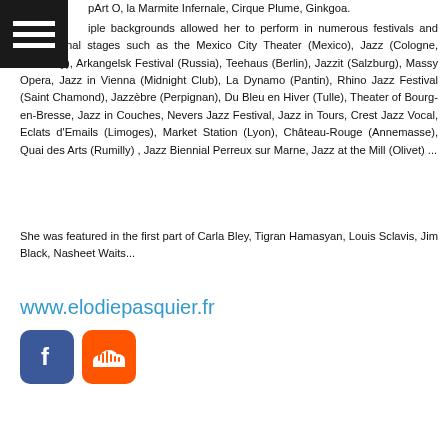pArt O, la Marmite Infernale, Cirque Plume, Ginkgoa.
iple backgrounds allowed her to perform in numerous festivals and international stages such as the Mexico City Theater (Mexico), Jazz (Cologne, Germany), Arkangelsk Festival (Russia), Teehaus (Berlin), Jazzit (Salzburg), Massy Opera, Jazz in Vienna (Midnight Club), La Dynamo (Pantin), Rhino Jazz Festival (Saint Chamond), Jazzèbre (Perpignan), Du Bleu en Hiver (Tulle), Theater of Bourg-en-Bresse, Jazz in Couches, Nevers Jazz Festival, Jazz in Tours, Crest Jazz Vocal, Eclats d'Emails (Limoges), Market Station (Lyon), Château-Rouge (Annemasse), Quai des Arts (Rumilly) , Jazz Biennial Perreux sur Marne, Jazz at the Mill (Olivet) ...
She was featured in the first part of Carla Bley, Tigran Hamasyan, Louis Sclavis, Jim Black, Nasheet Waits...
www.elodiepasquier.fr
[Figure (logo): Facebook and SoundCloud social media icons]